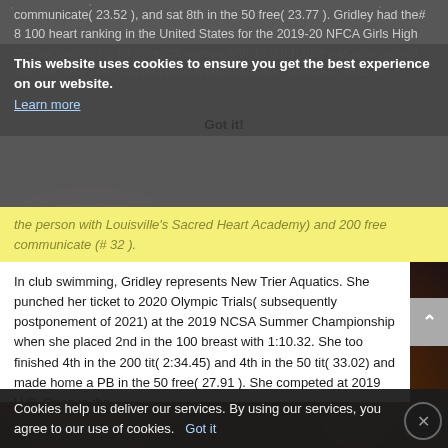communicate( 23.52 ), and sat 8th in the 50 free( 23.77 ). Gridley had the# 8 100 heart ranking in the United States for the 2019-20 NFCA Girls High School Swimming All-America season with 1:00.89. She was also ranked with the New Trier 200 potpourrus communicate( confined for# 2 in
This website uses cookies to ensure you get the best experience on our website.
Learn more
the person with Louisville's Sacred Heart Academy) and 200 free communicate (# 32 ).
Got it!
In club swimming, Gridley represents New Trier Aquatics. She punched her ticket to 2020 Olympic Trials( subsequently postponement of 2021) at the 2019 NCSA Summer Championship when she placed 2nd in the 100 breast with 1:10.32. She too finished 4th in the 200 tit( 2:34.45) and 4th in the 50 tit( 33.02) and made home a PB in the 50 free( 27.91 ). She competed at 2019 U.S. Open in the
Cookies help us deliver our services. By using our services, you agree to our use of cookies.   Got it